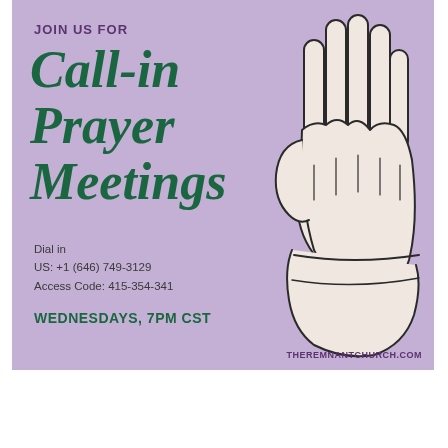[Figure (illustration): Promotional flyer for Call-in Prayer Meetings on a lavender/purple background with an illustration of clasped praying hands on the right side. Text includes event title, dial-in number, access code, day/time, and website.]
Dia... Night Prayer Meetings  Springtime can... son, but did you know you can join our